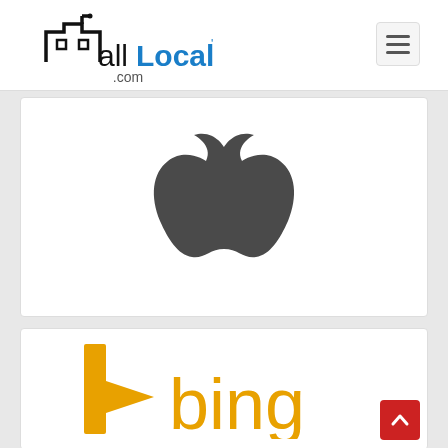allLocal.com
[Figure (logo): Apple logo — dark grey apple silhouette with bite taken out of the upper right, centered in a white card]
[Figure (logo): Bing logo — golden yellow 'b' arrow mark followed by golden yellow 'bing' wordmark, partially cropped at bottom of page]